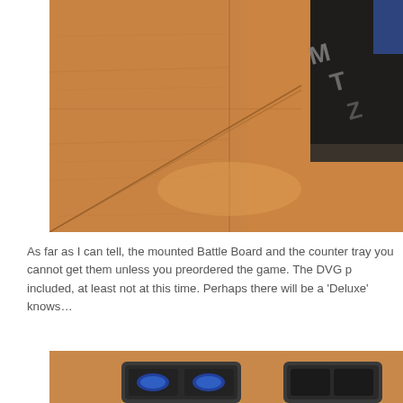[Figure (photo): Partial photograph showing a wooden laminate floor (light orange/tan planks) with a dark object visible in the upper right corner, possibly a game board or box with text partially visible.]
As far as I can tell, the mounted Battle Board and the counter tray you cannot get them unless you preordered the game. The DVG p included, at least not at this time. Perhaps there will be a 'Deluxe' knows…
[Figure (photo): Partial photograph showing the bottom portion of a counter tray or game component tray on a wooden surface, with blue game pieces/counters visible inside dark compartments.]